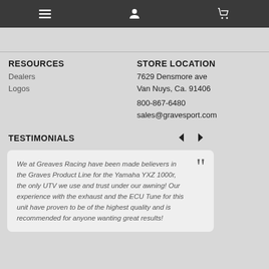Navigation bar with menu, user, and cart icons
RESOURCES
Dealers
Logos
STORE LOCATION
7629 Densmore ave
Van Nuys, Ca. 91406
800-867-6480
sales@gravesport.com
TESTIMONIALS
We at Greaves Racing have been made believers in the Graves Product Line for the Yamaha YXZ 1000r, the only UTV we use and trust under our awning! Our experience with the exhaust and the ECU Tune for this unit have proven to be of the highest quality and is recommended for anyone wanting great results!